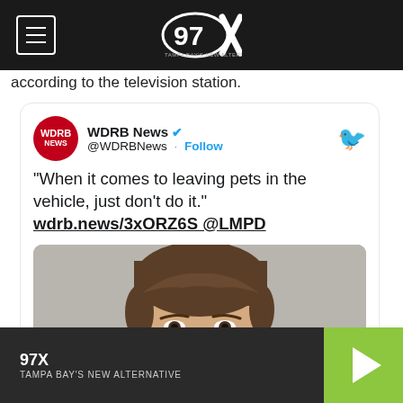97X — Tampa Bay's New Alternative (navigation bar with logo)
according to the television station.
[Figure (screenshot): Embedded tweet from WDRB News (@WDRBNews) with verified badge and Follow button. Tweet text: "When it comes to leaving pets in the vehicle, just don't do it." wdrb.news/3xORZ6S @LMPD. Below the text is a photo of a young white male with brown hair (mugshot-style).]
97X TAMPA BAY'S NEW ALTERNATIVE